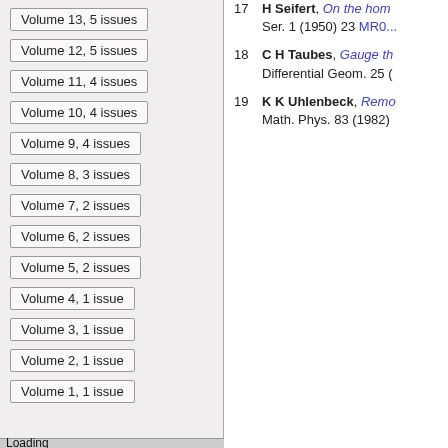Volume 13, 5 issues
Volume 12, 5 issues
Volume 11, 4 issues
Volume 10, 4 issues
Volume 9, 4 issues
Volume 8, 3 issues
Volume 7, 2 issues
Volume 6, 2 issues
Volume 5, 2 issues
Volume 4, 1 issue
Volume 3, 1 issue
Volume 2, 1 issue
Volume 1, 1 issue
17  H Seifert, On the hom... Ser. 1 (1950) 23 MR00...
18  C H Taubes, Gauge th... Differential Geom. 25 (...
19  K K Uhlenbeck, Remo... Math. Phys. 83 (1982)...
Loading [MathJax]/extensions/mml2jax.js